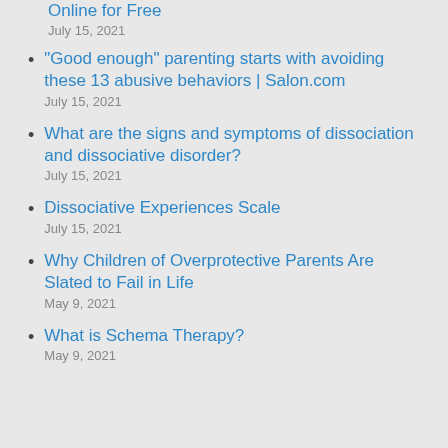Online for Free
July 15, 2021
“Good enough” parenting starts with avoiding these 13 abusive behaviors | Salon.com
July 15, 2021
What are the signs and symptoms of dissociation and dissociative disorder?
July 15, 2021
Dissociative Experiences Scale
July 15, 2021
Why Children of Overprotective Parents Are Slated to Fail in Life
May 9, 2021
What is Schema Therapy?
May 9, 2021